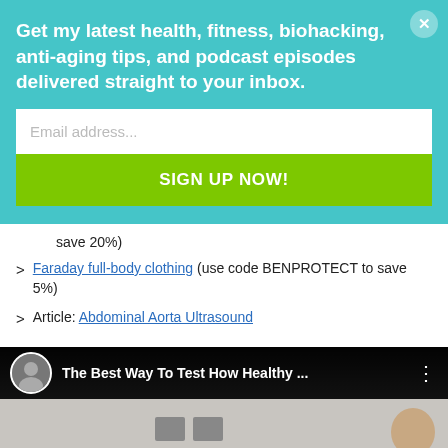Get my latest health, fitness, biohacking, anti-aging tips, and podcast episodes delivered straight to your inbox.
Email address...
SIGN UP NOW!
save 20%)
Faraday full-body clothing (use code BENPROTECT to save 5%)
Article: Abdominal Aorta Ultrasound
[Figure (screenshot): YouTube video thumbnail showing 'The Best Way To Test How Healthy ...' with a circular avatar and video controls bar at top, and a background scene with devices and a person's head.]